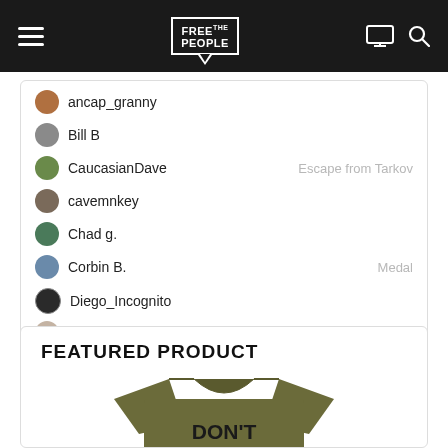[Figure (screenshot): Website navigation bar for 'Free People' with hamburger menu icon on left, logo in center, monitor and search icons on right, dark background.]
ancap_granny
Bill B
CaucasianDave  —  Escape from Tarkov
cavemnkey
Chad g.
Corbin B.  —  Medal
Diego_Incognito
Hangout with people who get it
Join Discord
FEATURED PRODUCT
[Figure (photo): Olive/army green t-shirt with bold black text reading DON'T HURT PPL & DON'T TAKE]